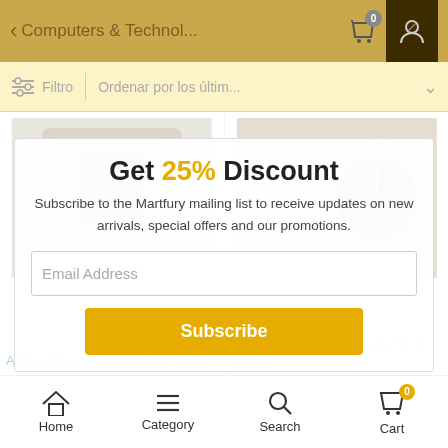Computers & Technol...
Filtro   Ordenar por los últim...
Get 25% Discount
Subscribe to the Martfury mailing list to receive updates on new arrivals, special offers and our promotions.
Email Address
Subscribe
Apple iPhone Retina 6s Plus 64GB
Sound Intone I65 Earphone White Version
Home   Category   Search   Cart